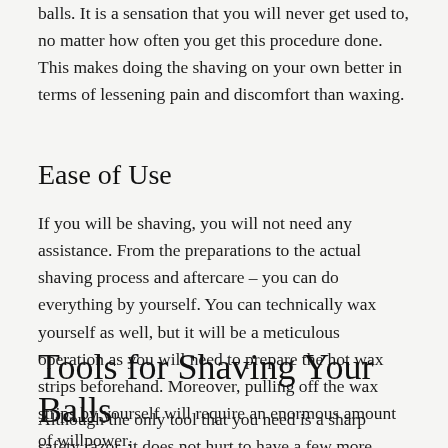balls. It is a sensation that you will never get used to, no matter how often you get this procedure done. This makes doing the shaving on your own better in terms of lessening pain and discomfort than waxing.
Ease of Use
If you will be shaving, you will not need any assistance. From the preparations to the actual shaving process and aftercare – you can do everything by yourself. You can technically wax yourself as well, but it will be a meticulous operation as you will need to prepare the hot wax strips beforehand. Moreover, pulling off the wax strips by yourself will require an enormous amount of willpower.
Tools for Shaving Your Balls
Although the only tool that you need is a sharp safety razor, it does not hurt to have a few more pieces of kit to